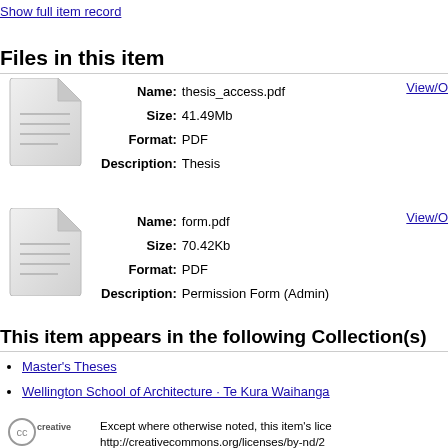Show full item record
Files in this item
[Figure (illustration): Generic document/file icon (folded corner page)]
| Name: | thesis_access.pdf |
| Size: | 41.49Mb |
| Format: | PDF |
| Description: | Thesis |
View/O
[Figure (illustration): Generic document/file icon (folded corner page)]
| Name: | form.pdf |
| Size: | 70.42Kb |
| Format: | PDF |
| Description: | Permission Form (Admin) |
View/O
This item appears in the following Collection(s)
Master's Theses
Wellington School of Architecture · Te Kura Waihanga
[Figure (logo): Creative Commons logo]
Except where otherwise noted, this item's lice http://creativecommons.org/licenses/by-nd/2